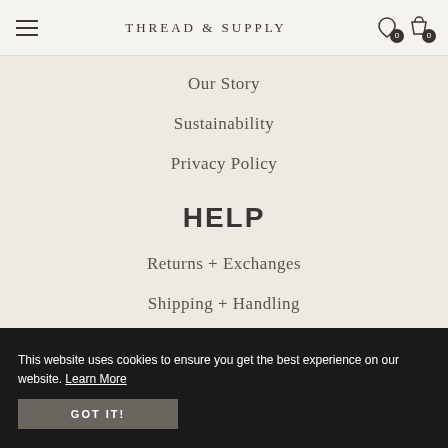THREAD & SUPPLY
Our Story
Sustainability
Privacy Policy
HELP
Returns + Exchanges
Shipping + Handling
This website uses cookies to ensure you get the best experience on our website. Learn More GOT IT!